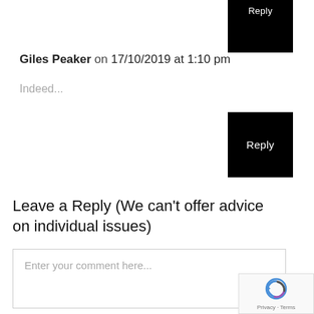[Figure (screenshot): Partially visible black Reply button at top right]
Giles Peaker on 17/10/2019 at 1:10 pm
Indeed...
[Figure (screenshot): Black Reply button]
Leave a Reply (We can't offer advice on individual issues)
Enter your comment here...
[Figure (other): reCAPTCHA badge with Privacy and Terms links]